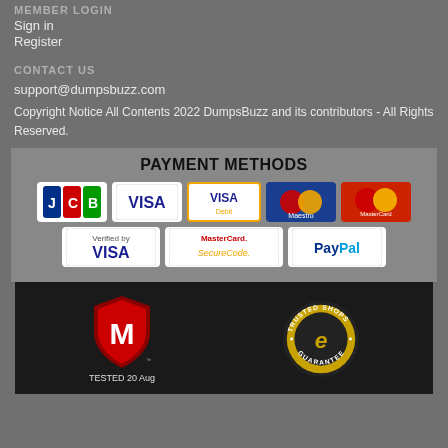MEMBER LOGIN
Sign in
Register
CONTACT US
support@dumpsbuzz.com
Copyright Notice All Contents 2022 DumpsBuzz and its contributors - All Rights Reserved.
[Figure (infographic): Payment Methods section showing JCB, Visa, Visa Debit, Maestro, MasterCard, Verified by Visa, MasterCard SecureCode, and PayPal badges]
[Figure (infographic): Trust badges: McAfee TESTED 20 Aug shield logo and Trusted Shops Guarantee circular badge]